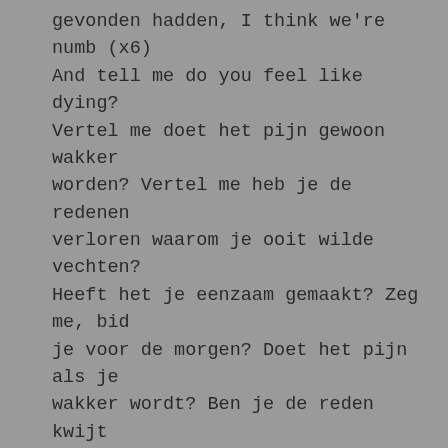gevonden hadden, I think we're numb (x6) And tell me do you feel like dying? Vertel me doet het pijn gewoon wakker worden? Vertel me heb je de redenen verloren waarom je ooit wilde vechten? Heeft het je eenzaam gemaakt? Zeg me, bid je voor de morgen? Doet het pijn als je wakker wordt? Ben je de reden kwijt waarom je wilde vechten? En je weet dat het allemaal onmogelijk is. En niets voelt hetzelfde, Het leven is vol nu, Elke morgen als het licht wordt, Iedereen zingt vanavond hetzelfde liedje, Je kunt beter wegvliegen, ja Zijn je vrienden allemaal veranderd? Al de mensen waarvan je dacht dat ze er nog zouden zijn, Als je licht grijs wordt, Verlies je alle hoop die je dacht te hebben gevonden, Ik